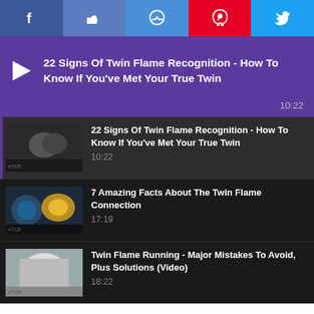[Figure (screenshot): Social media share bar with Facebook, Like, Messenger, Pinterest, and Twitter buttons]
[Figure (screenshot): Video player showing '22 Signs Of Twin Flame Recognition - How To Know If You've Met Your True Twin', duration 10:22, purple background]
22 Signs Of Twin Flame Recognition - How To Know If You've Met Your True Twin 10:22
7 Amazing Facts About The Twin Flame Connection 17:19
Twin Flame Running - Major Mistakes To Avoid, Plus Solutions (Video) 18:22
ARTICLES